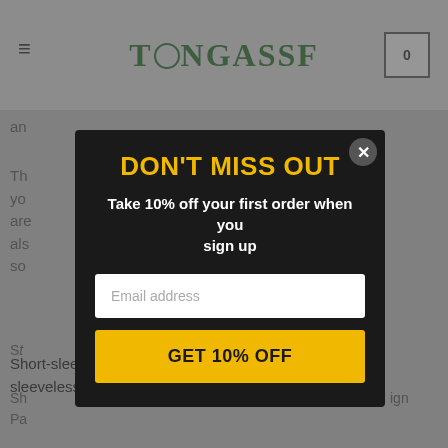TONGASSF
an
Th... g yo... are... h als... so...
Short-sleeve jerseys are more commonly worn than sleeveless ones.
[Figure (screenshot): Email signup popup modal with dark background on TONGASSF website. Contains heading 'DON'T MISS OUT' in yellow, subtitle 'Take 10% off your first order when you sign up' in white, an email input field, and a yellow 'GET 10% OFF' button. A close button (X) is in the top right corner of the modal.]